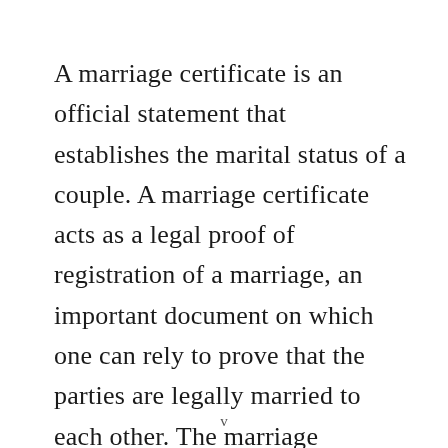A marriage certificate is an official statement that establishes the marital status of a couple. A marriage certificate acts as a legal proof of registration of a marriage, an important document on which one can rely to prove that the parties are legally married to each other. The marriage certificate could be used for —
v